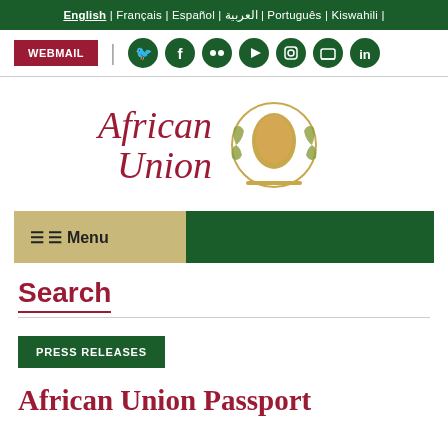English | Français | Español | العربية | Português | Kiswahili |
WEBMAIL
[Figure (logo): African Union logo with emblem showing map of Africa in gold, surrounded by a wreath, with text 'African Union' in dark red serif italic font]
☰ ☰ Menu
Search
PRESS RELEASES
African Union Passport